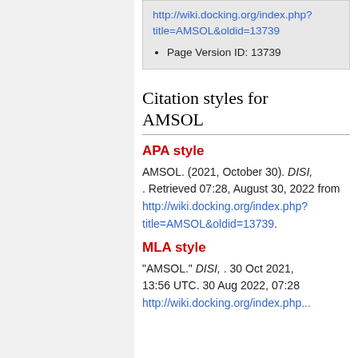http://wiki.docking.org/index.php?title=AMSOL&oldid=13739
Page Version ID: 13739
Citation styles for AMSOL
APA style
AMSOL. (2021, October 30). DISI, . Retrieved 07:28, August 30, 2022 from http://wiki.docking.org/index.php?title=AMSOL&oldid=13739.
MLA style
"AMSOL." DISI, . 30 Oct 2021, 13:56 UTC. 30 Aug 2022, 07:28 http://wiki.docking.org/index.php...